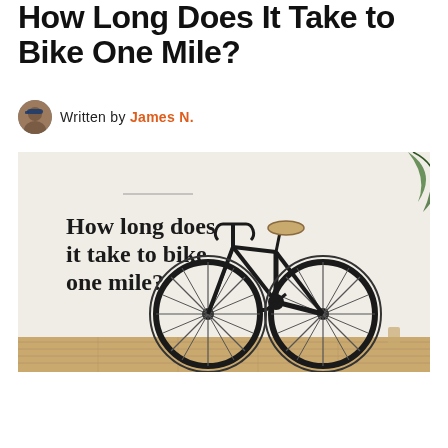How Long Does It Take to Bike One Mile?
Written by James N.
[Figure (photo): A black road bicycle leaning against a white wall on a wooden floor, with text overlay reading 'How long does it take to bike one mile?']